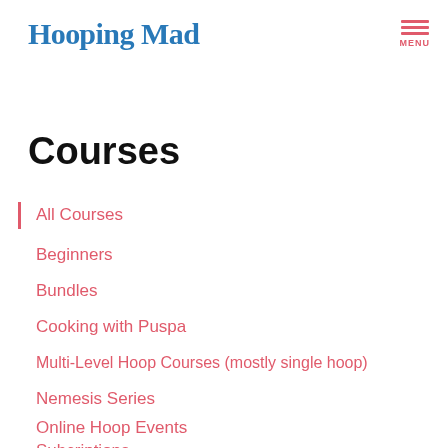Hooping Mad | MENU
Courses
All Courses
Beginners
Bundles
Cooking with Puspa
Multi-Level Hoop Courses (mostly single hoop)
Nemesis Series
Online Hoop Events
Subcriptions